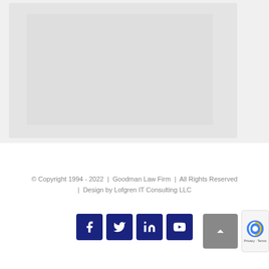[Figure (photo): Faded/washed-out background image placeholder in light gray, occupying the top portion of the page]
© Copyright 1994 - 2022  |  Goodman Law Firm  |  All Rights Reserved  |  Design by Lofgren IT Consulting LLC
[Figure (other): Social media icon buttons (Facebook, Twitter, LinkedIn, YouTube) in dark navy blue, plus a gray back-to-top arrow button and reCAPTCHA badge]